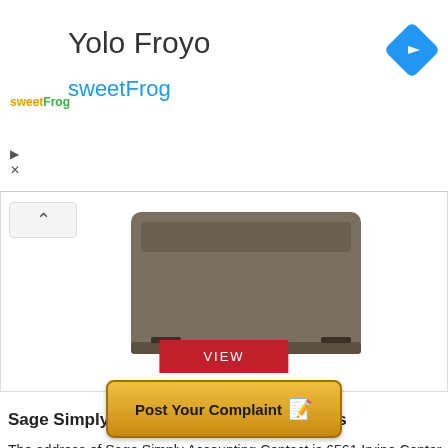[Figure (screenshot): Ad banner for Yolo Froyo sweetFrog with logo, title, subtitle, and navigation arrow icon]
[Figure (photo): Product image of a dark gray bag/case with a red VIEW button overlay and a back-chevron button]
Sage Simply Accounting Contact Address
The address of Sage Simply Accounting Contact is 6561 Irvine Center Drive Irvine, CA 92618-2301.
[Figure (other): Post Your Complaint button with notepad and pencil emoji icon, golden gradient background]